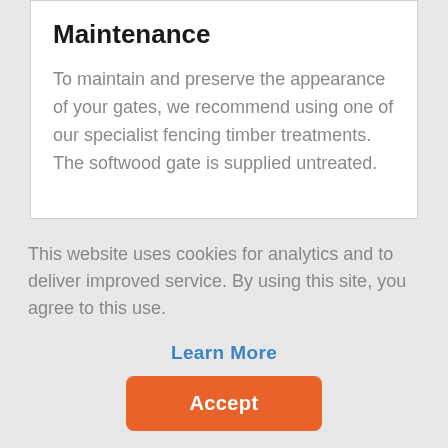Maintenance
To maintain and preserve the appearance of your gates, we recommend using one of our specialist fencing timber treatments. The softwood gate is supplied untreated.
This website uses cookies for analytics and to deliver improved service. By using this site, you agree to this use.
Learn More
Accept